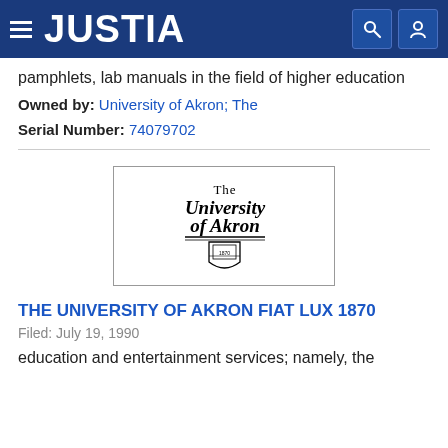JUSTIA
pamphlets, lab manuals in the field of higher education
Owned by: University of Akron; The
Serial Number: 74079702
[Figure (logo): The University of Akron logo with shield emblem]
THE UNIVERSITY OF AKRON FIAT LUX 1870
Filed: July 19, 1990
education and entertainment services; namely, the